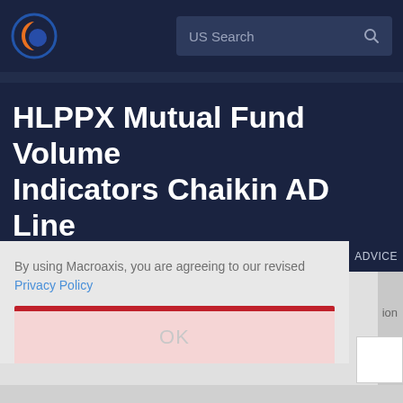US Search
HLPPX Mutual Fund Volume Indicators Chaikin AD Line
Mutual Funds · USA · Fund · Rems Real Estate
By using Macroaxis, you are agreeing to our revised Privacy Policy
OK